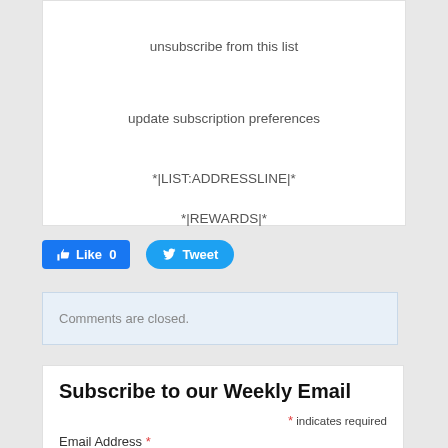unsubscribe from this list
update subscription preferences
*|LIST:ADDRESSLINE|*
*|REWARDS|*
[Figure (other): Facebook Like button with count 0 and Twitter Tweet button]
Comments are closed.
Subscribe to our Weekly Email
* indicates required
Email Address *